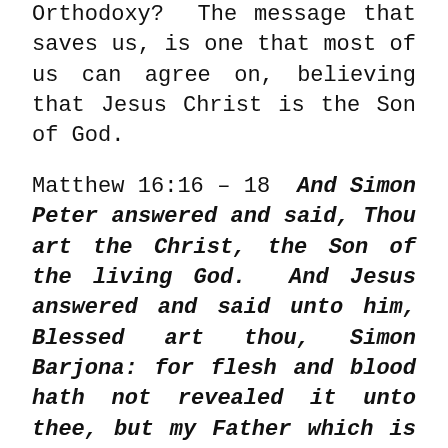Orthodoxy? The message that saves us, is one that most of us can agree on, believing that Jesus Christ is the Son of God.
Matthew 16:16 – 18  And Simon Peter answered and said, Thou art the Christ, the Son of the living God. And Jesus answered and said unto him, Blessed art thou, Simon Barjona: for flesh and blood hath not revealed it unto thee, but my Father which is in heaven. And I say also unto thee, That thou art Peter, and upon this